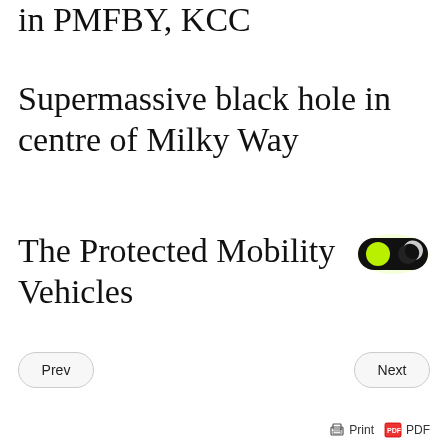in PMFBY, KCC
Supermassive black hole in centre of Milky Way
The Protected Mobility Vehicles
[Figure (illustration): Dark mode toggle switch icon showing a green circle on left and a crescent moon symbol on right, on a black pill-shaped background with yellow-green glow]
Prev
Next
Print  PDF